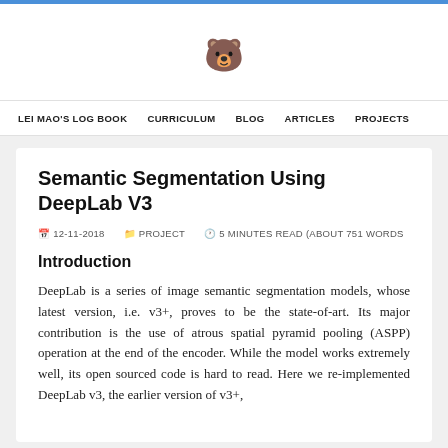LEI MAO'S LOG BOOK   CURRICULUM   BLOG   ARTICLES   PROJECTS
Semantic Segmentation Using DeepLab V3
12-11-2018  PROJECT  5 MINUTES READ (ABOUT 751 WORDS)
Introduction
DeepLab is a series of image semantic segmentation models, whose latest version, i.e. v3+, proves to be the state-of-art. Its major contribution is the use of atrous spatial pyramid pooling (ASPP) operation at the end of the encoder. While the model works extremely well, its open sourced code is hard to read. Here we re-implemented DeepLab v3, the earlier version of v3+,